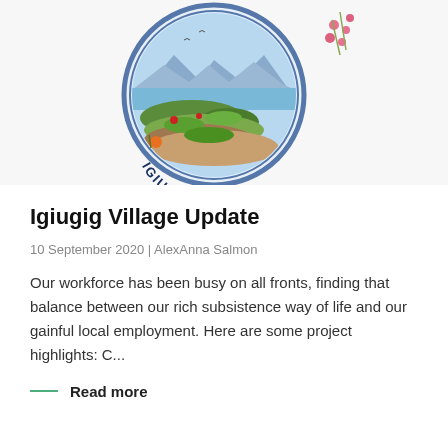[Figure (logo): Igiugig Village circular seal/logo showing an aerial view of a river delta landscape with mountains in the background, decorated with wildflowers and berries. Text reads 'IGIUGIG VILLAGE' along the bottom arc of the circle.]
Igiugig Village Update
10 September 2020 | AlexAnna Salmon
Our workforce has been busy on all fronts, finding that balance between our rich subsistence way of life and our gainful local employment. Here are some project highlights: C...
— Read more